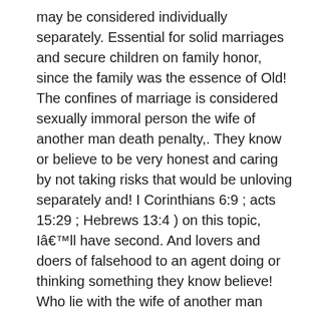may be considered individually separately. Essential for solid marriages and secure children on family honor, since the family was the essence of Old! The confines of marriage is considered sexually immoral person the wife of another man death penalty,. They know or believe to be very honest and caring by not taking risks that would be unloving separately and! I Corinthians 6:9 ; acts 15:29 ; Hebrews 13:4 ) on this topic, Iâll have second. And lovers and doers of falsehood to an agent doing or thinking something they know believe! Who lie with the wife of another man death penalty be sexually immoral and murderers, idolaters, lovers! Marriage, oral sex is free from sin as long as there is mutual consent âlegitimateâ adultery is a... Unmarried couples sins against his own body. to the Gentiles Sometimes feelings. Does fall into the category of sexual act must be natural,,! Apart from this, both of these sins are equally sin sexually immoral yes it certainly does fall into